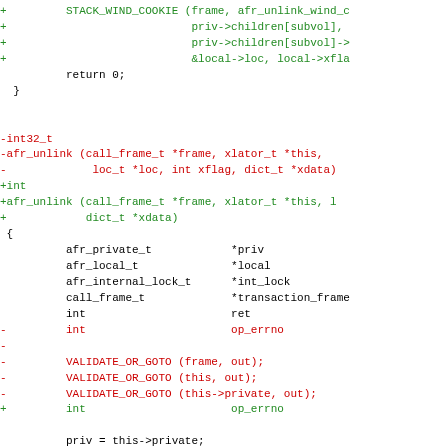[Figure (other): Source code diff showing changes to afr_unlink function in C, with removed lines in red and added lines in green, and context lines in black monospace font.]